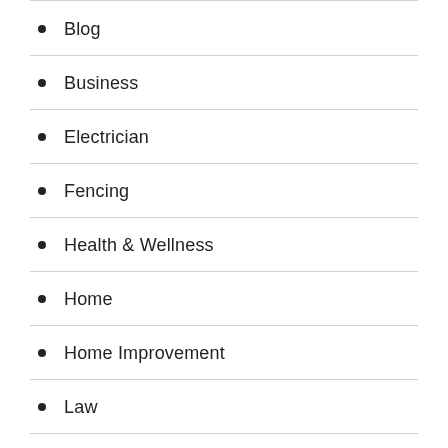Blog
Business
Electrician
Fencing
Health & Wellness
Home
Home Improvement
Law